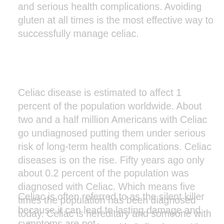and serious health complications. Avoiding gluten at all times is the most effective way to successfully manage celiac.
Celiac disease is estimated to affect 1 percent of the population worldwide. About two and a half million Americans with Celiac go undiagnosed putting them under serious risk of long-term health complications. Celiac diseases is on the rise. Fifty years ago only about 0.2 percent of the population was diagnosed with Celiac. Which means five times the population has been diagnosed today. Celiac is hereditary and someone with a first-degree relative with Celiac has a 10 percent risk of developing the disease themselves.
Celiac is often referred to as the silent killer because it can lead to lasting damage and symptoms are not